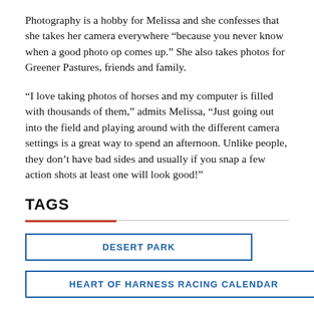Photography is a hobby for Melissa and she confesses that she takes her camera everywhere “because you never know when a good photo op comes up.” She also takes photos for Greener Pastures, friends and family.
“I love taking photos of horses and my computer is filled with thousands of them,” admits Melissa, “Just going out into the field and playing around with the different camera settings is a great way to spend an afternoon. Unlike people, they don’t have bad sides and usually if you snap a few action shots at least one will look good!”
TAGS
DESERT PARK
HEART OF HARNESS RACING CALENDAR